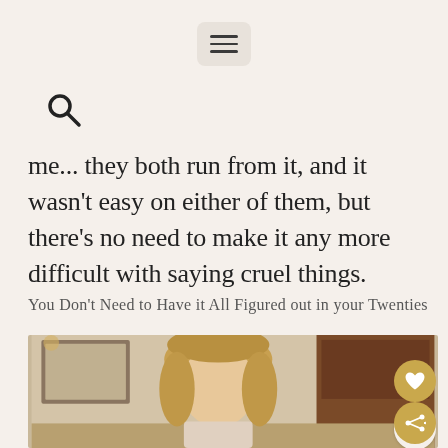[Figure (other): Hamburger menu button (three horizontal lines) in a rounded rectangle]
[Figure (other): Search icon (magnifying glass)]
me... they both run from it, and it wasn't easy on either of them, but there's no need to make it any more difficult with saying cruel things.
You Don't Need to Have it All Figured out in your Twenties
[Figure (photo): Young blonde woman looking down, seated in a room with wooden furniture and a framed picture on wall. Gold heart/share buttons visible on right edge.]